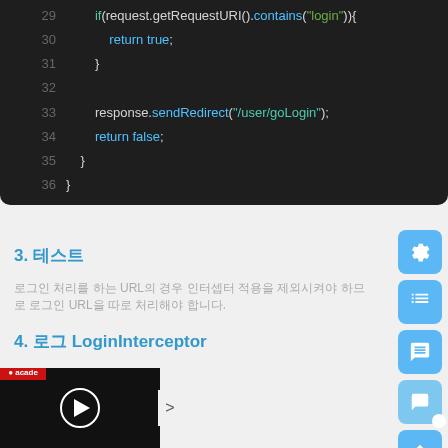[Figure (screenshot): Dark-themed code editor showing Java code lines 29-36. Line 29: if(request.getRequestURI().contains("login")){, Line 30: return true;, Line 31: }, Line 32: empty, Line 33: response.sendRedirect("/user/goLogin");, Line 34: return false;, Line 35: }, Line 36: }]
3. 테스트
로그인 처리를 하는 URL의 경우 인터셉터 적용을 제외시켜야 하므로 로그인 URL을 따로 처리해야 합니다.
4. 로그 LoginInterceptor
[Figure (screenshot): Dark-themed Java code editor showing package com.jokerdig.config; and import org.springframework.web.servlet.HandlerInter...]